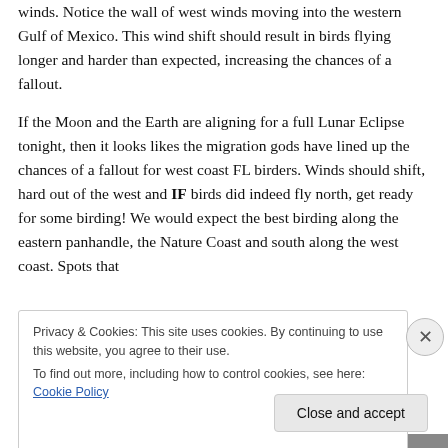winds. Notice the wall of west winds moving into the western Gulf of Mexico. This wind shift should result in birds flying longer and harder than expected, increasing the chances of a fallout.
If the Moon and the Earth are aligning for a full Lunar Eclipse tonight, then it looks likes the migration gods have lined up the chances of a fallout for west coast FL birders. Winds should shift, hard out of the west and IF birds did indeed fly north, get ready for some birding! We would expect the best birding along the eastern panhandle, the Nature Coast and south along the west coast. Spots that
Privacy & Cookies: This site uses cookies. By continuing to use this website, you agree to their use.
To find out more, including how to control cookies, see here: Cookie Policy
Close and accept